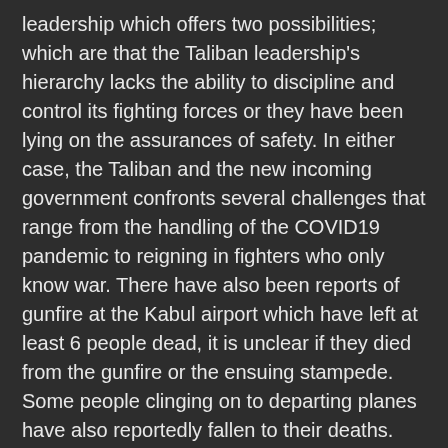leadership which offers two possibilities; which are that the Taliban leadership's hierarchy lacks the ability to discipline and control its fighting forces or they have been lying on the assurances of safety. In either case, the Taliban and the new incoming government confronts several challenges that range from the handling of the COVID19 pandemic to reigning in fighters who only know war. There have also been reports of gunfire at the Kabul airport which have left at least 6 people dead, it is unclear if they died from the gunfire or the ensuing stampede. Some people clinging on to departing planes have also reportedly fallen to their deaths.
Many people have chosen to flee, some are attempting to cross into neighboring countries, braving Taliban checkpoints and bandits. More are rushing to the Kabul airport, the safest route for many living out of the